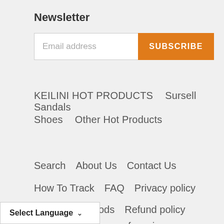Newsletter
Email address
SUBSCRIBE
KEILINI HOT PRODUCTS    Sursell Sandals
Shoes    Other Hot Products
Search    About Us    Contact Us
How To Track    FAQ    Privacy policy
Payment Methods    Refund policy
Shipping Info    Terms of service
Select Language